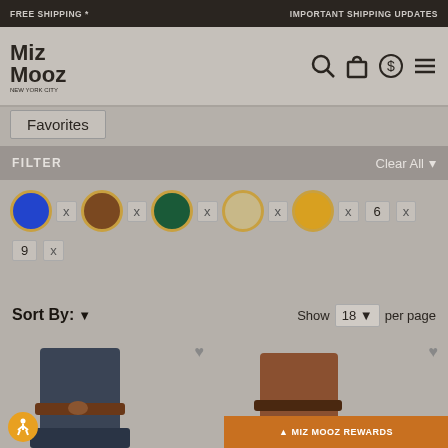FREE SHIPPING *   IMPORTANT SHIPPING UPDATES
[Figure (logo): Miz Mooz New York City logo]
Favorites
FILTER   Clear All
Color filter chips: blue x, brown x, dark green x, tan x, gold x, 6 x, 9 x
Sort By:  Show 18 per page
[Figure (photo): Dark navy blue tall boot with brown leather strap]
[Figure (photo): Tan/cognac leather tall boot]
MIZ MOOZ REWARDS